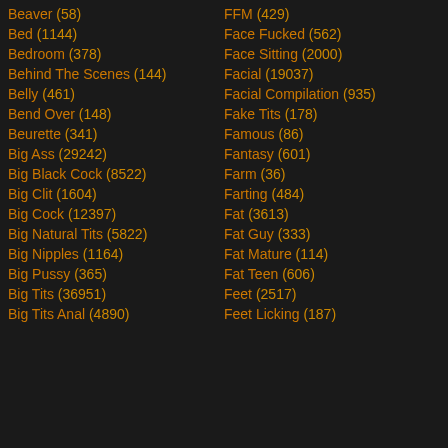Beaver (58)
Bed (1144)
Bedroom (378)
Behind The Scenes (144)
Belly (461)
Bend Over (148)
Beurette (341)
Big Ass (29242)
Big Black Cock (8522)
Big Clit (1604)
Big Cock (12397)
Big Natural Tits (5822)
Big Nipples (1164)
Big Pussy (365)
Big Tits (36951)
Big Tits Anal (4890)
FFM (429)
Face Fucked (562)
Face Sitting (2000)
Facial (19037)
Facial Compilation (935)
Fake Tits (178)
Famous (86)
Fantasy (601)
Farm (36)
Farting (484)
Fat (3613)
Fat Guy (333)
Fat Mature (114)
Fat Teen (606)
Feet (2517)
Feet Licking (187)